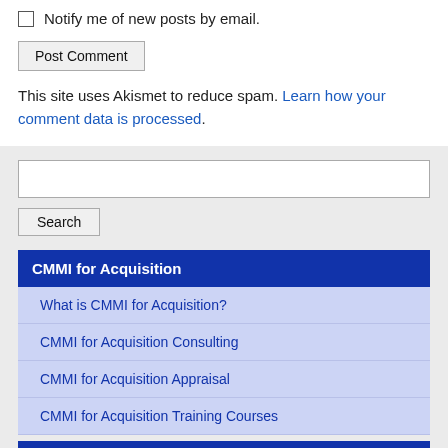Notify me of new posts by email.
Post Comment
This site uses Akismet to reduce spam. Learn how your comment data is processed.
Search
CMMI for Acquisition
What is CMMI for Acquisition?
CMMI for Acquisition Consulting
CMMI for Acquisition Appraisal
CMMI for Acquisition Training Courses
CMMI Certification Services